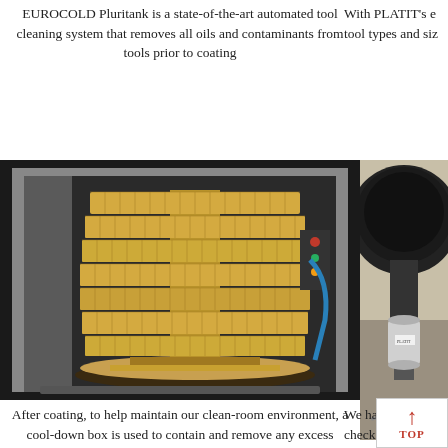EUROCOLD Pluritank is a state-of-the-art automated tool cleaning system that removes all oils and contaminants from tools prior to coating
With PLATIT's e tool types and siz
[Figure (photo): Interior of the EUROCOLD Pluritank automated tool cleaning system, showing a large open chamber with a rotating carousel holding many golden-colored tools arranged in circular rows on multiple levels]
[Figure (photo): Partial view of PLATIT equipment on a desk surface, showing mechanical/optical components]
After coating, to help maintain our clean-room environment, a cool-down box is used to contain and remove any excess coating dust particles
We have a PLAT check c insped
TOP